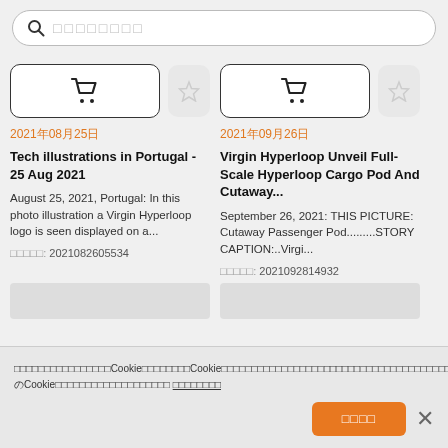□□□□□□□□ (search placeholder)
2021年08月25日
Tech illustrations in Portugal - 25 Aug 2021
August 25, 2021, Portugal: In this photo illustration a Virgin Hyperloop logo is seen displayed on a...
画像番号: 2021082605534
2021年09月26日
Virgin Hyperloop Unveil Full-Scale Hyperloop Cargo Pod And Cutaway...
September 26, 2021: THIS PICTURE: Cutaway Passenger Pod.........STORY CAPTION:..Virgi...
画像番号: 2021092814932
□□□□□□□□□□□□□□□□CookieをCookie□□□□□□□□□□□□□□□□□□□□□□□□□□□□□□□□□□□□□□□□□のCookie□□□□□□□□□□□□□□ □□□□□□□□
□□□□